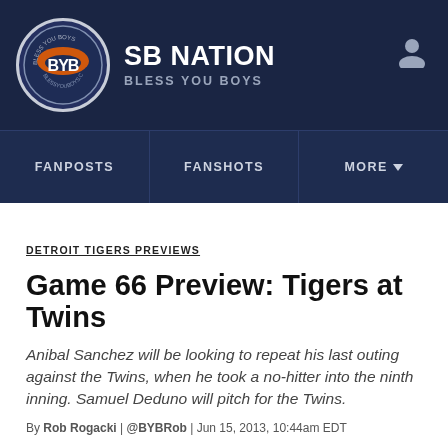SB NATION | BLESS YOU BOYS
FANPOSTS | FANSHOTS | MORE
DETROIT TIGERS PREVIEWS
Game 66 Preview: Tigers at Twins
Anibal Sanchez will be looking to repeat his last outing against the Twins, when he took a no-hitter into the ninth inning. Samuel Deduno will pitch for the Twins.
By Rob Rogacki | @BYBRob | Jun 15, 2013, 10:44am EDT